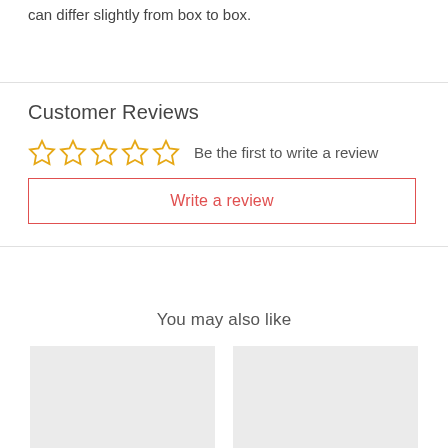can differ slightly from box to box.
Customer Reviews
☆☆☆☆☆  Be the first to write a review
Write a review
You may also like
[Figure (photo): Two product thumbnail placeholder boxes]